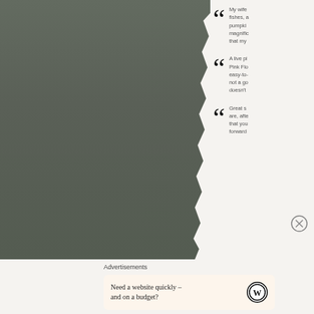[Figure (photo): Dark grey-green torn paper or textured surface filling the left column]
My wife fishes, a pumpki magnific that my
A live pi Pink Flo easy-to- not a go doesn't
Great s are, afte that you forward
Advertisements
Need a website quickly – and on a budget?